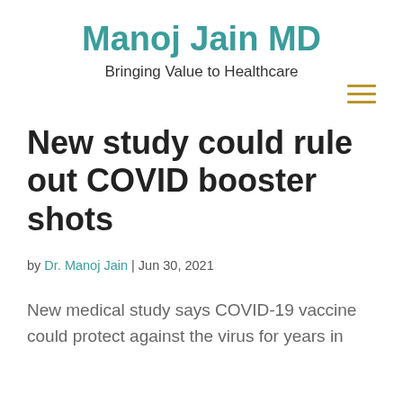Manoj Jain MD
Bringing Value to Healthcare
New study could rule out COVID booster shots
by Dr. Manoj Jain | Jun 30, 2021
New medical study says COVID-19 vaccine could protect against the virus for years in